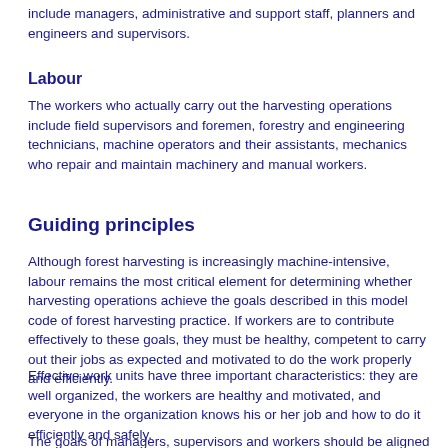include managers, administrative and support staff, planners and engineers and supervisors.
Labour
The workers who actually carry out the harvesting operations include field supervisors and foremen, forestry and engineering technicians, machine operators and their assistants, mechanics who repair and maintain machinery and manual workers.
Guiding principles
Although forest harvesting is increasingly machine-intensive, labour remains the most critical element for determining whether harvesting operations achieve the goals described in this model code of forest harvesting practice. If workers are to contribute effectively to these goals, they must be healthy, competent to carry out their jobs as expected and motivated to do the work properly and efficiently.
Effective work units have three important characteristics: they are well organized, the workers are healthy and motivated, and everyone in the organization knows his or her job and how to do it efficiently and safely.
The goals of managers, supervisors and workers should be aligned as much as possible so that they are mutually